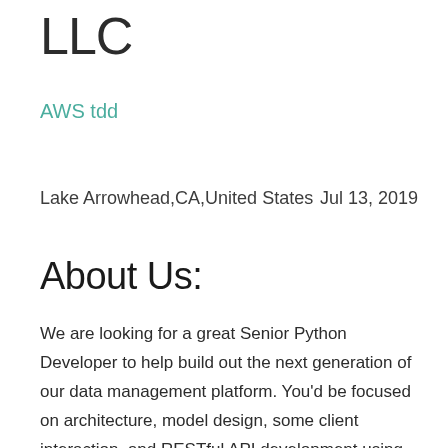LLC
AWS tdd
Lake Arrowhead,CA,United States    Jul 13, 2019
About Us:
We are looking for a great Senior Python Developer to help build out the next generation of our data management platform. You'd be focused on architecture, model design, some client interaction, and RESTful API development using django, rest